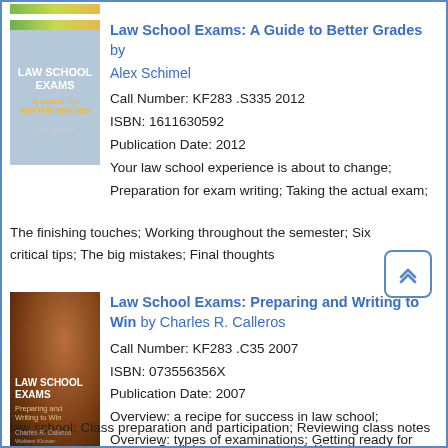[Figure (photo): Partial top of a book cover visible at the very top of the page]
[Figure (photo): Book cover: Law School Exams: A Guide to Better Grades, light blue/grey cover with white bold title and yellow subtitle]
Law School Exams: A Guide to Better Grades by Alex Schimel
Call Number: KF283 .S335 2012
ISBN: 1611630592
Publication Date: 2012
Your law school experience is about to change; Preparation for exam writing; Taking the actual exam; The finishing touches; Working throughout the semester; Six critical tips; The big mistakes; Final thoughts
[Figure (photo): Book cover: Law School Exams: Preparing and Writing to Win, dark brown/orange cover with white title text]
Law School Exams: Preparing and Writing to Win by Charles R. Calleros
Call Number: KF283 .C35 2007
ISBN: 073556356X
Publication Date: 2007
Overview: a recipe for success in law school; Overview: types of examinations; Getting ready for law school; Class preparation and participation; Reviewing class notes and synthesizing cases; Outlining course material; Know your audience; Getting primed for the task; Techniques common to all essay questions; Fact-based essay questions with uncertain answers;